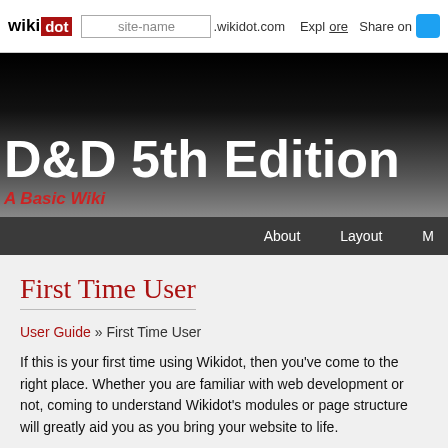wikidot | site-name .wikidot.com | Explore | Share on
D&D 5th Edition
A Basic Wiki
About   Layout
First Time User
User Guide » First Time User
If this is your first time using Wikidot, then you've come to the right place. Whether you are familiar with web development or not, coming to understand Wikidot's modules or page structure will greatly aid you as you bring your website to life.
We want to ease the learning curve so that you can become comfortable with the interface. This tutorial will by no means cover everything Wikidot offers, but we